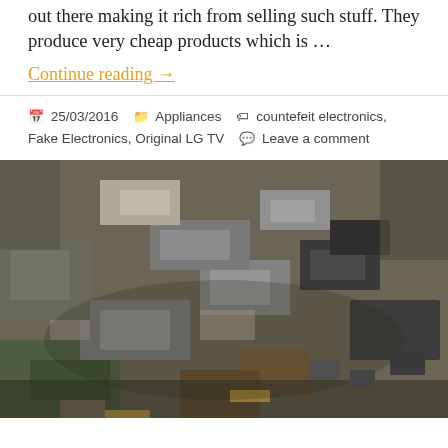out there making it rich from selling such stuff. They produce very cheap products which is …
Continue reading →
25/03/2016   Appliances   countefeit electronics, Fake Electronics, Original LG TV   Leave a comment
[Figure (photo): A large pile of discarded electronic waste including broken electronic components, circuit boards, metal housings, and various electronic parts heaped together]